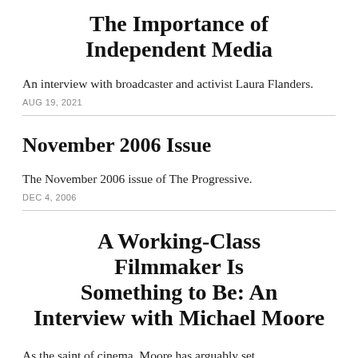The Importance of Independent Media
An interview with broadcaster and activist Laura Flanders.
AUG 19, 2021
November 2006 Issue
The November 2006 issue of The Progressive.
DEC 4, 2006
A Working-Class Filmmaker Is Something to Be: An Interview with Michael Moore
As the saint of cinema, Moore has arguably set